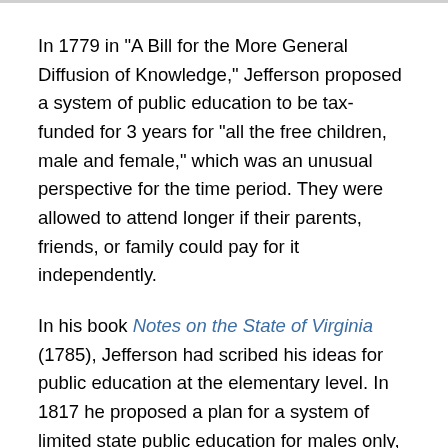In 1779 in "A Bill for the More General Diffusion of Knowledge," Jefferson proposed a system of public education to be tax-funded for 3 years for "all the free children, male and female," which was an unusual perspective for the time period. They were allowed to attend longer if their parents, friends, or family could pay for it independently.
In his book Notes on the State of Virginia (1785), Jefferson had scribed his ideas for public education at the elementary level. In 1817 he proposed a plan for a system of limited state public education for males only, in keeping with the times. It depended on public grammar schools, and further education of a limited number of the best students, and those whose parents wanted to pay for them. The university was to be the capstone, available to